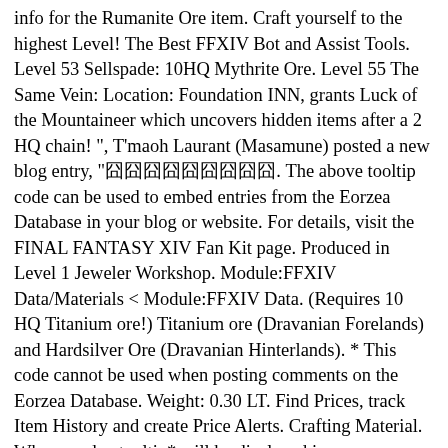info for the Rumanite Ore item. Craft yourself to the highest Level! The Best FFXIV Bot and Assist Tools. Level 53 Sellspade: 10HQ Mythrite Ore. Level 55 The Same Vein: Location: Foundation INN, grants Luck of the Mountaineer which uncovers hidden items after a 2 HQ chain! ", T'maoh Laurant (Masamune) posted a new blog entry, "囧囧囧囧囧囧囧囧囧. The above tooltip code can be used to embed entries from the Eorzea Database in your blog or website. For details, visit the FINAL FANTASY XIV Fan Kit page. Produced in Level 1 Jeweler Workshop. Module:FFXIV Data/Materials < Module:FFXIV Data. (Requires 10 HQ Titanium ore!) Titanium ore (Dravanian Forelands) and Hardsilver Ore (Dravanian Hinterlands). * This code cannot be used when posting comments on the Eorzea Database. Weight: 0.30 LT. Find Prices, track Item History and create Price Alerts. Crafting Material. When used, a tooltip* will be displayed in your comment.Please note that the tooltip code cannot be used outside of the Eorzea Database. Tungsten Ore - Eorzea Item . The Chest Piece (NQ Kudzu Coat of Gathering) is a welcome, albeit small, upgrade.I melded these with III's, as they were too marginal an upgrade without even the cheapest of melds. More will spawn on the 4th, 7th, 10th, etc destroyed Altars, albeit in decreasing amounts. 100% Cobalt Ore is the lowest tier of Hardmode Ore, and can spawn on the first breaking of an Altar. This Final Fantasy Market Board page is not affiliated with or owned by Square Enix or any of its affiliated companies. Find Prices, track Item History and create Price Alerts. Gathering skill: 720 Item level: 60 Perception: 740 Can be